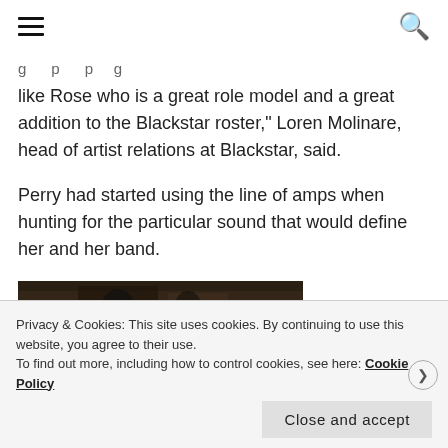[hamburger menu] [search icon]
g … p … p g …
like Rose who is a great role model and a great addition to the Blackstar roster," Loren Molinare, head of artist relations at Blackstar, said.
Perry had started using the line of amps when hunting for the particular sound that would define her and her band.
[Figure (photo): Dark-toned photo strip showing what appears to be a music or concert-related image]
Privacy & Cookies: This site uses cookies. By continuing to use this website, you agree to their use.
To find out more, including how to control cookies, see here: Cookie Policy